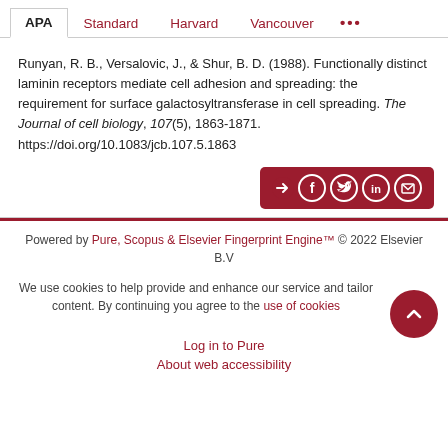APA | Standard | Harvard | Vancouver | ...
Runyan, R. B., Versalovic, J., & Shur, B. D. (1988). Functionally distinct laminin receptors mediate cell adhesion and spreading: the requirement for surface galactosyltransferase in cell spreading. The Journal of cell biology, 107(5), 1863-1871. https://doi.org/10.1083/jcb.107.5.1863
Powered by Pure, Scopus & Elsevier Fingerprint Engine™ © 2022 Elsevier B.V
We use cookies to help provide and enhance our service and tailor content. By continuing you agree to the use of cookies
Log in to Pure
About web accessibility